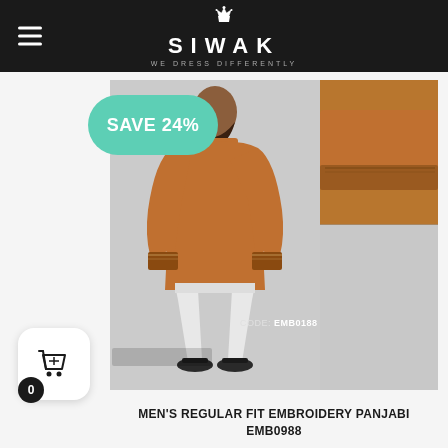SIWAK — We Dress Differently
[Figure (photo): A man wearing a tan/caramel coloured regular fit embroidery panjabi (kurta) with white shalwar and black sandals. A close-up inset shows the cuff embroidery detail with a decorative button. Product code EMB0988 is shown at the bottom left of the image. A teal 'SAVE 24%' badge overlays the top-left of the image.]
MEN'S REGULAR FIT EMBROIDERY PANJABI EMB0988